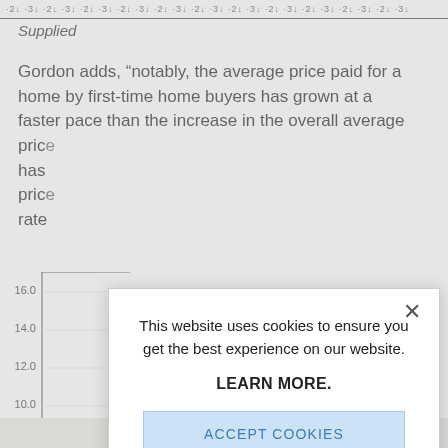Supplied
Gordon adds, “notably, the average price paid for a home by first-time home buyers has grown at a faster pace than the increase in the overall average price has price rate
[Figure (continuous-plot): Partial bar or line chart visible behind modal overlay, showing y-axis labels 16.0, 14.0, 12.0, 10.0]
This website uses cookies to ensure you get the best experience on our website.

LEARN MORE.

ACCEPT COOKIES